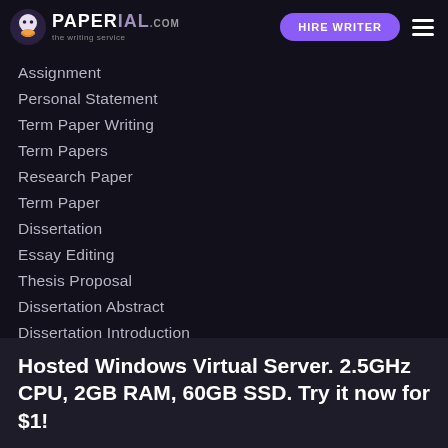PAPERIAL... HIRE WRITER
Assignment
Personal Statement
Term Paper Writing
Term Papers
Research Paper
Term Paper
Dissertation
Essay Editing
Thesis Proposal
Dissertation Abstract
Dissertation Introduction
Dissertation Discussion
Writing services
Hosted Windows Virtual Server. 2.5GHz CPU, 2GB RAM, 60GB SSD. Try it now for $1!